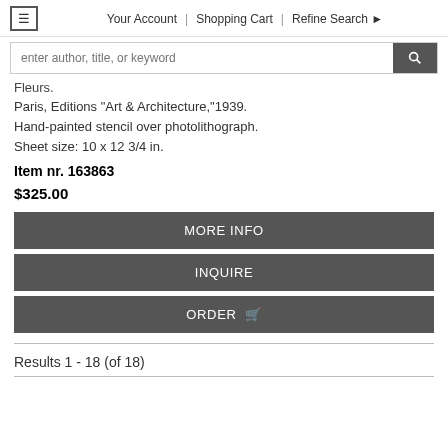≡  Your Account  |  Shopping Cart  |  Refine Search ▶
enter author, title, or keyword
Fleurs.
Paris, Editions "Art & Architecture,"1939. Hand-painted stencil over photolithograph. Sheet size: 10 x 12 3/4 in.
Item nr. 163863
$325.00
MORE INFO
INQUIRE
ORDER 🛒
Results 1 - 18 (of 18)